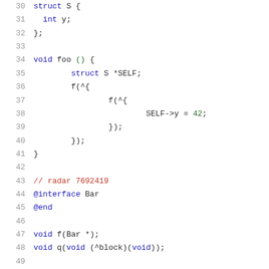Code listing lines 30-51 showing C/Objective-C source code with struct, void functions, blocks, and Objective-C interface declarations